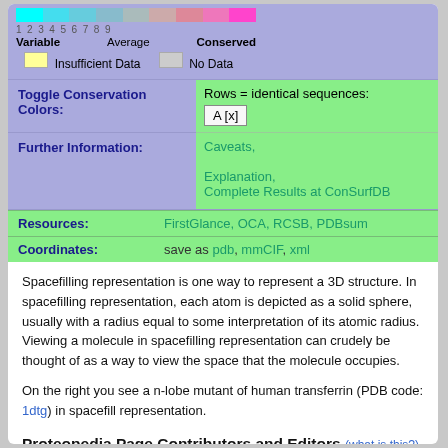[Figure (other): Conservation color scale bar showing gradient from cyan/teal (Variable) through colors 1-9 to magenta/pink (Conserved), with labels Variable, Average, Conserved and legend for Insufficient Data (yellow) and No Data (gray)]
| Toggle Conservation Colors: | Rows = identical sequences: A [x] |
| Further Information: | Caveats,
Explanation,
Complete Results at ConSurfDB |
| Resources: | FirstGlance, OCA, RCSB, PDBsum |
| Coordinates: | save as pdb, mmCIF, xml |
Spacefilling representation is one way to represent a 3D structure. In spacefilling representation, each atom is depicted as a solid sphere, usually with a radius equal to some interpretation of its atomic radius. Viewing a molecule in spacefilling representation can crudely be thought of as a way to view the space that the molecule occupies.
On the right you see a n-lobe mutant of human transferrin (PDB code: 1dtg) in spacefill representation.
Proteopedia Page Contributors and Editors (what is this?)
Eran Hodis